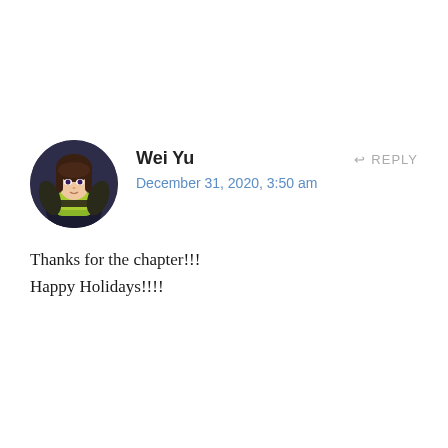[Figure (illustration): Circular avatar of an anime-style female character with dark hair, wearing a yellow-green outfit, against a dark background]
Wei Yu
December 31, 2020, 3:50 am
↩ REPLY
Thanks for the chapter!!!
Happy Holidays!!!!